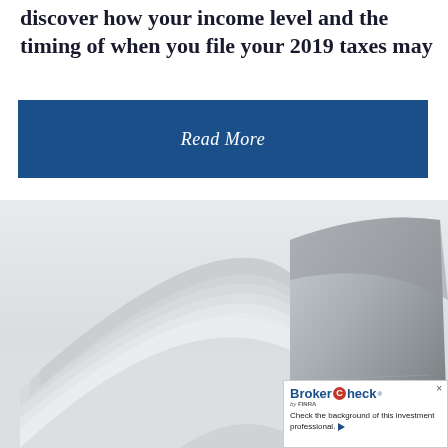discover how your income level and the timing of when you file your 2019 taxes may
[Figure (other): Blue 'Read More' button]
[Figure (photo): Close-up photo of an open book with fanned pages, light gray and white tones, shot from above on a white background. A BrokerCheck by FINRA widget overlay appears in the bottom-right corner.]
[Figure (other): BrokerCheck by FINRA widget with red and blue logo, text 'Check the background of this investment professional.' with arrow button.]